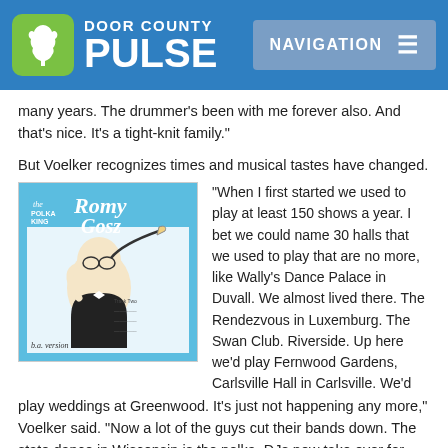DOOR COUNTY PULSE | NAVIGATION
many years. The drummer's been with me forever also. And that's nice. It's a tight-knit family."
But Voelker recognizes times and musical tastes have changed.
[Figure (photo): Album cover for Romy Gosz 'The Polka King' showing a caricature of a man playing trumpet with blue and white design]
"When I first started we used to play at least 150 shows a year. I bet we could name 30 halls that we used to play that are no more, like Wally's Dance Palace in Duvall. We almost lived there. The Rendezvous in Luxemburg. The Swan Club. Riverside. Up here we'd play Fernwood Gardens, Carlsville Hall in Carlsville. We'd play weddings at Greenwood. It's just not happening any more," Voelker said. "Now a lot of the guys cut their bands down. The state dance in Wisconsin is the polka. DJs now take over for